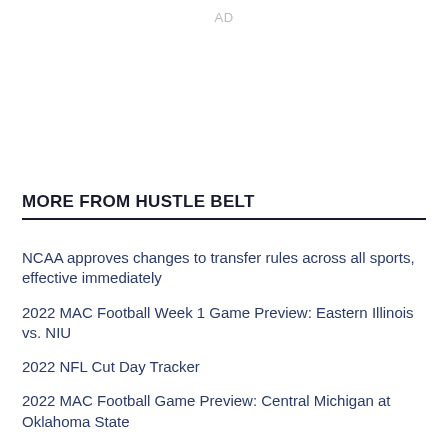AD
MORE FROM HUSTLE BELT
NCAA approves changes to transfer rules across all sports, effective immediately
2022 MAC Football Week 1 Game Preview: Eastern Illinois vs. NIU
2022 NFL Cut Day Tracker
2022 MAC Football Game Preview: Central Michigan at Oklahoma State
2022 MAC Football Week 1 Game Preview: BGSU at UCLA